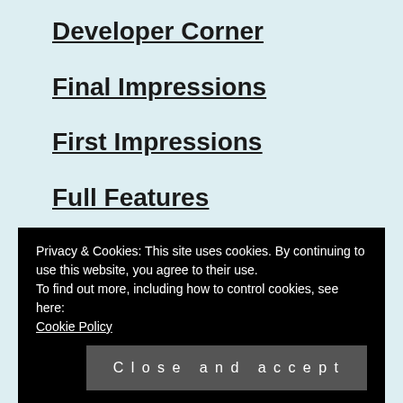Developer Corner
Final Impressions
First Impressions
Full Features
Fun Stuff
Game Reviews
Gaming News
Privacy & Cookies: This site uses cookies. By continuing to use this website, you agree to their use.
To find out more, including how to control cookies, see here: Cookie Policy
What We're Eating